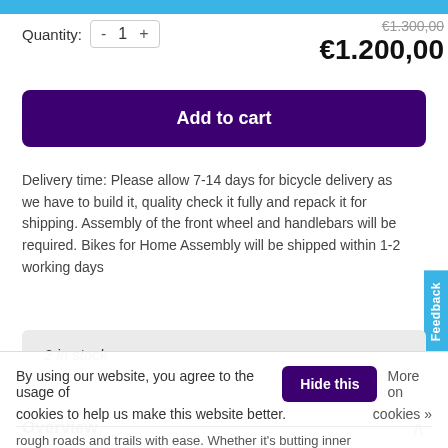Quantity: - 1 +
€1.300,00 €1.200,00
Add to cart
Delivery time: Please allow 7-14 days for bicycle delivery as we have to build it, quality check it fully and repack it for shipping. Assembly of the front wheel and handlebars will be required. Bikes for Home Assembly will be shipped within 1-2 working days
Feedback
2 in stock
Overview
By using our website, you agree to the usage of cookies to help us make this website better.
Hide this
More on cookies »
rough roads and trails with ease. Whether it's butting inner